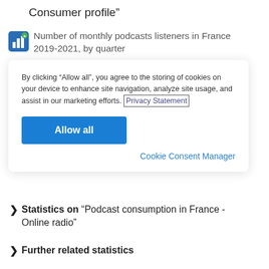Consumer profile"
Number of monthly podcasts listeners in France 2019-2021, by quarter
By clicking “Allow all”, you agree to the storing of cookies on your device to enhance site navigation, analyze site usage, and assist in our marketing efforts. Privacy Statement
Allow all
Cookie Consent Manager
Statistics on "Podcast consumption in France - Online radio"
Further related statistics